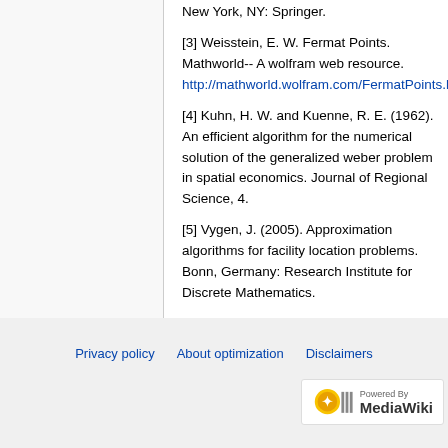[3] Weisstein, E. W. Fermat Points. Mathworld-- A wolfram web resource. http://mathworld.wolfram.com/FermatPoints.htm
[4] Kuhn, H. W. and Kuenne, R. E. (1962). An efficient algorithm for the numerical solution of the generalized weber problem in spatial economics. Journal of Regional Science, 4.
[5] Vygen, J. (2005). Approximation algorithms for facility location problems. Bonn, Germany: Research Institute for Discrete Mathematics.
[6] Korupolu, M. R. & Plaxton, G. C. & Rajaraman, R. (2000). Analysis of a local search heuristic for facility location problems.
Privacy policy   About optimization   Disclaimers